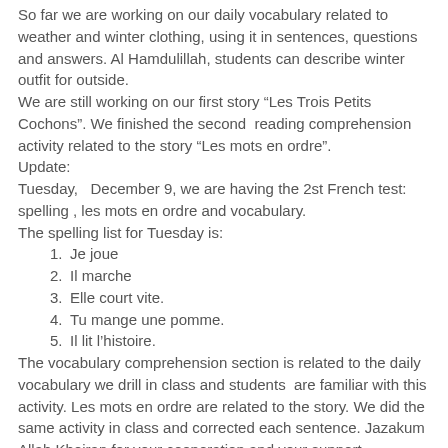So far we are working on our daily vocabulary related to weather and winter clothing, using it in sentences, questions and answers. Al Hamdulillah, students can describe winter outfit for outside.
We are still working on our first story “Les Trois Petits Cochons”. We finished the second reading comprehension activity related to the story “Les mots en ordre”.
Update:
Tuesday, December 9, we are having the 2st French test: spelling , les mots en ordre and vocabulary.
The spelling list for Tuesday is:
Je joue
Il marche
Elle court vite.
Tu mange une pomme.
Il lit l’histoire.
The vocabulary comprehension section is related to the daily vocabulary we drill in class and students are familiar with this activity. Les mots en ordre are related to the story. We did the same activity in class and corrected each sentence. Jazakum Allah Kheiran for your cooperation and your support.